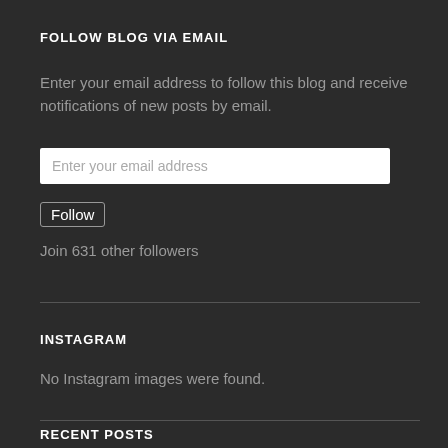FOLLOW BLOG VIA EMAIL
Enter your email address to follow this blog and receive notifications of new posts by email.
Enter your email address
Follow
Join 631 other followers
INSTAGRAM
No Instagram images were found.
RECENT POSTS